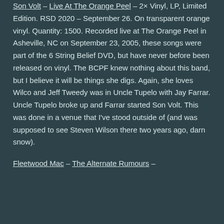Son Volt – Live At The Orange Peel – 2× Vinyl, LP, Limited Edition. RSD 2020 – September 26. On transparent orange vinyl. Quantity: 1500. Recorded live at The Orange Peel in Asheville, NC on September 23, 2005, these songs were part of the 6 String Belief DVD, but have never before been released on vinyl. The BCPF knew nothing about this band, but I believe it will be things she digs. Again, she loves Wilco and Jeff Tweedy was in Uncle Tupelo with Jay Farrar. Uncle Tupelo broke up and Farrar started Son Volt. This was done in a venue that I've stood outside of (and was supposed to see Steven Wilson there two years ago, darn snow).
Fleetwood Mac – The Alternate Rumours –